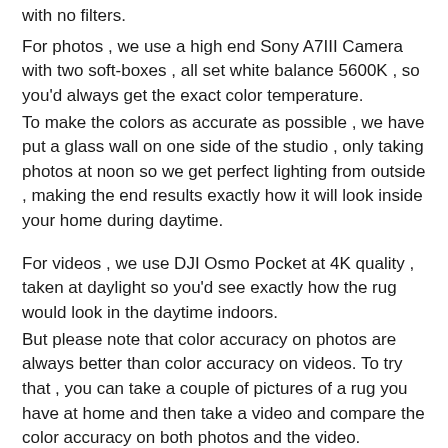with no filters.
For photos , we use a high end Sony A7III Camera with two soft-boxes , all set white balance 5600K , so you'd always get the exact color temperature.
To make the colors as accurate as possible , we have put a glass wall on one side of the studio , only taking photos at noon so we get perfect lighting from outside , making the end results exactly how it will look inside your home during daytime.
For videos , we use DJI Osmo Pocket at 4K quality , taken at daylight so you'd see exactly how the rug would look in the daytime indoors.
But please note that color accuracy on photos are always better than color accuracy on videos. To try that , you can take a couple of pictures of a rug you have at home and then take a video and compare the color accuracy on both photos and the video.